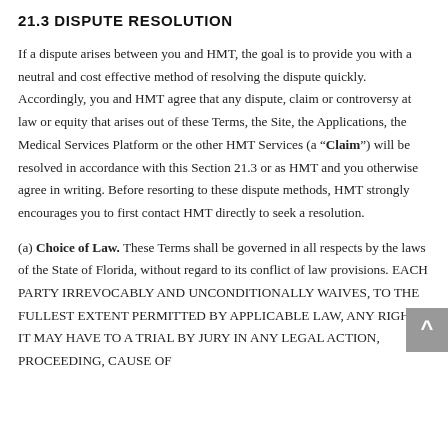21.3 DISPUTE RESOLUTION
If a dispute arises between you and HMT, the goal is to provide you with a neutral and cost effective method of resolving the dispute quickly. Accordingly, you and HMT agree that any dispute, claim or controversy at law or equity that arises out of these Terms, the Site, the Applications, the Medical Services Platform or the other HMT Services (a “Claim”) will be resolved in accordance with this Section 21.3 or as HMT and you otherwise agree in writing. Before resorting to these dispute methods, HMT strongly encourages you to first contact HMT directly to seek a resolution.
(a) Choice of Law. These Terms shall be governed in all respects by the laws of the State of Florida, without regard to its conflict of law provisions. EACH PARTY IRREVOCABLY AND UNCONDITIONALLY WAIVES, TO THE FULLEST EXTENT PERMITTED BY APPLICABLE LAW, ANY RIGHT IT MAY HAVE TO A TRIAL BY JURY IN ANY LEGAL ACTION, PROCEEDING, CAUSE OF